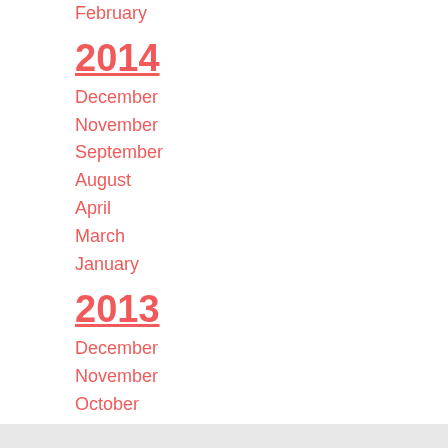February
2014
December
November
September
August
April
March
January
2013
December
November
October
September